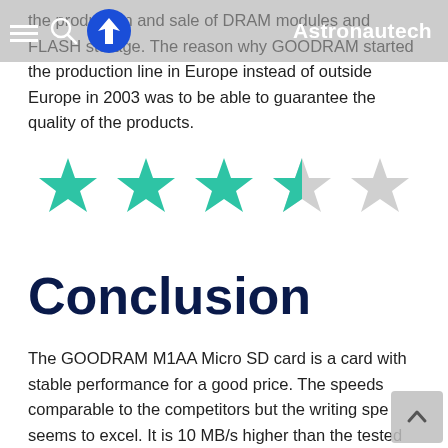Astronautech
the production and sale of DRAM modules and FLASH storage. The reason why GOODRAM started the production line in Europe instead of outside Europe in 2003 was to be able to guarantee the quality of the products.
[Figure (infographic): Star rating showing 3.5 out of 5 stars: three full teal/green stars, one half teal/green star, one empty grey star]
Conclusion
The GOODRAM M1AA Micro SD card is a card with stable performance for a good price. The speeds comparable to the competitors but the writing spe seems to excel. It is 10 MB/s higher than the tested